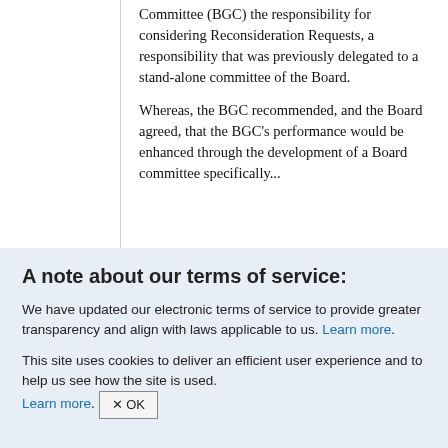Committee (BGC) the responsibility for considering Reconsideration Requests, a responsibility that was previously delegated to a stand-alone committee of the Board.
Whereas, the BGC recommended, and the Board agreed, that the BGC's performance would be enhanced through the development of a Board committee specifically...
A note about our terms of service:
We have updated our electronic terms of service to provide greater transparency and align with laws applicable to us. Learn more.
This site uses cookies to deliver an efficient user experience and to help us see how the site is used. Learn more. OK